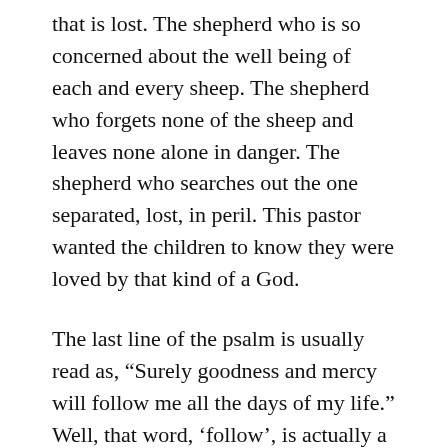that is lost. The shepherd who is so concerned about the well being of each and every sheep. The shepherd who forgets none of the sheep and leaves none alone in danger. The shepherd who searches out the one separated, lost, in peril. This pastor wanted the children to know they were loved by that kind of a God.
The last line of the psalm is usually read as, “Surely goodness and mercy will follow me all the days of my life.” Well, that word, ‘follow’, is actually a word that means pursue. So the original meaning was that goodness and mercy do not follow us, but pursue us, all the days of our lives. It is an image of the shepherd coming after us, seeking us out, to bless us with